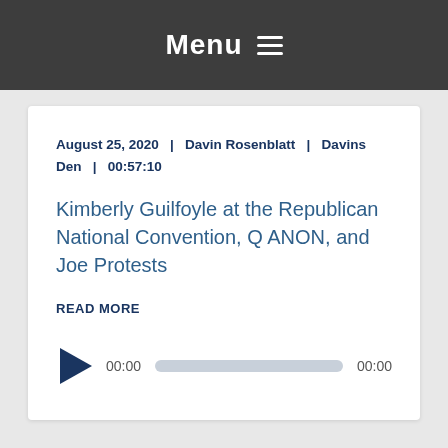Menu ≡
August 25, 2020  |  Davin Rosenblatt  |  Davins Den  |  00:57:10
Kimberly Guilfoyle at the Republican National Convention, Q ANON, and Joe Protests
READ MORE
[Figure (other): Audio player with play button, current time 00:00, progress bar, and duration 00:00]